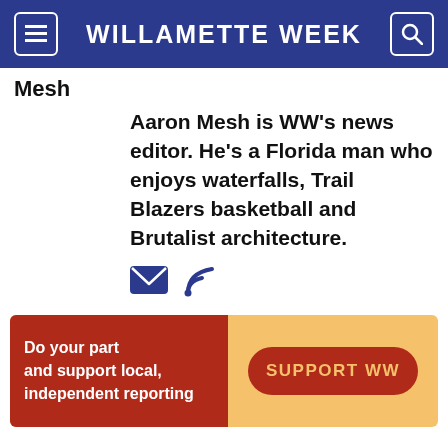WILLAMETTE WEEK
Mesh
Aaron Mesh is WW's news editor. He's a Florida man who enjoys waterfalls, Trail Blazers basketball and Brutalist architecture.
[Figure (infographic): Email and RSS feed icons in blue]
[Figure (infographic): Advertisement banner: dark red left panel with text 'Do your part and support local, independent reporting', orange background right panel with 'SUPPORT WW' button]
SPONSORED CONTENT
[Figure (logo): Outbrain logo with play icon]